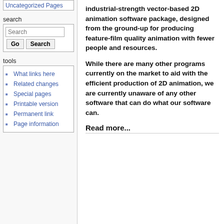Uncategorized Pages
search
Search [Go] [Search]
tools
What links here
Related changes
Special pages
Printable version
Permanent link
Page information
industrial-strength vector-based 2D animation software package, designed from the ground-up for producing feature-film quality animation with fewer people and resources.
While there are many other programs currently on the market to aid with the efficient production of 2D animation, we are currently unaware of any other software that can do what our software can.
Read more...